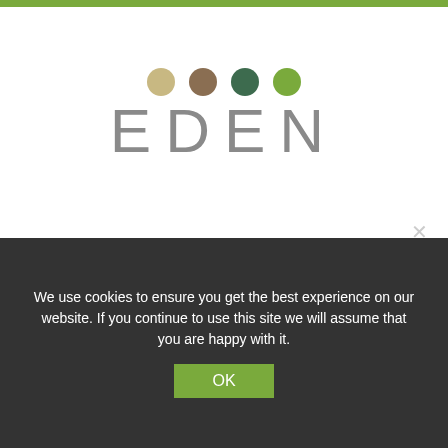[Figure (logo): EDEN school logo with four colored dots above stylized EDEN text]
[Figure (logo): Finaliste 2017 Prix Suisse des Écoles badge with wheat icon]
[Figure (logo): PDA Positive Discipline Association lab school circular badge]
[Figure (logo): Eco-Schools logo with tree/hands and book icon]
[Figure (other): Navigation buttons: A (menu) and search (magnifying glass) green circular buttons]
We use cookies to ensure you get the best experience on our website. If you continue to use this site we will assume that you are happy with it.